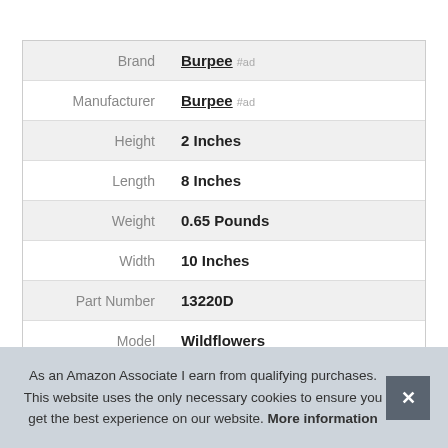| Label | Value |
| --- | --- |
| Brand | Burpee #ad |
| Manufacturer | Burpee #ad |
| Height | 2 Inches |
| Length | 8 Inches |
| Weight | 0.65 Pounds |
| Width | 10 Inches |
| Part Number | 13220D |
| Model | Wildflowers |
As an Amazon Associate I earn from qualifying purchases. This website uses the only necessary cookies to ensure you get the best experience on our website. More information